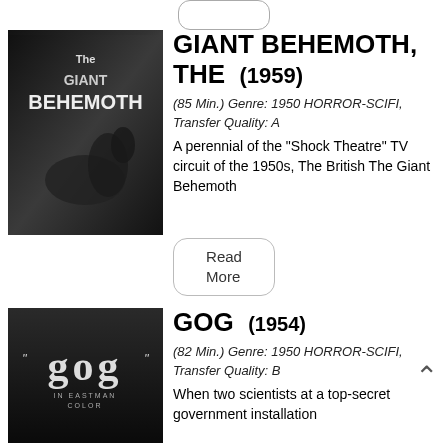GIANT BEHEMOTH, THE (1959)
(85 Min.) Genre: 1950 HORROR-SCIFI, Transfer Quality: A
A perennial of the "Shock Theatre" TV circuit of the 1950s, The British The Giant Behemoth
GOG (1954)
(82 Min.) Genre: 1950 HORROR-SCIFI, Transfer Quality: B
When two scientists at a top-secret government installation